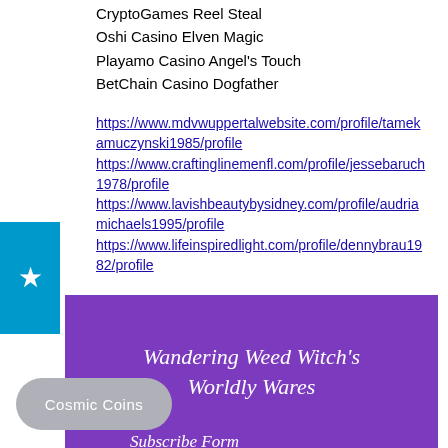CryptoGames Reel Steal
Oshi Casino Elven Magic
Playamo Casino Angel's Touch
BetChain Casino Dogfather
https://www.mdvwuppertalwebsite.com/profile/tamekamuczynski1985/profile https://www.craftinglinemenfl.com/profile/jessebaruch1978/profile https://www.lavishbeautybysidney.com/profile/audriamichaels1995/profile https://www.lifeinspiredlight.com/profile/dennybrau1982/profile
Wandering Weed Witch's Worldly Wares
Cosmic Coins
Subscribe Form